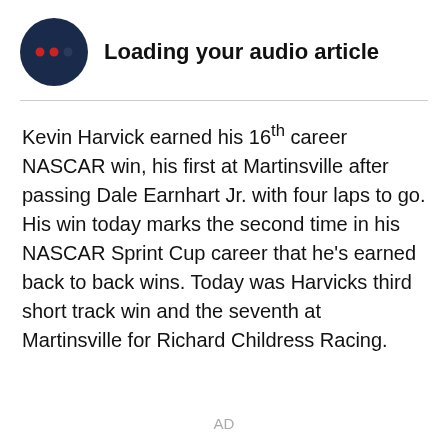[Figure (other): Dark navy circle with two small red dots and one dark dot, representing an audio loading indicator]
Loading your audio article
Kevin Harvick earned his 16th career NASCAR win, his first at Martinsville after passing Dale Earnhart Jr. with four laps to go. His win today marks the second time in his NASCAR Sprint Cup career that he's earned back to back wins. Today was Harvicks third short track win and the seventh at Martinsville for Richard Childress Racing.
AD